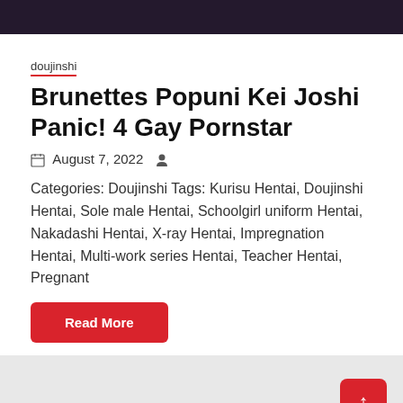[Figure (illustration): Partial anime/manga illustration cropped at top of page]
doujinshi
Brunettes Popuni Kei Joshi Panic! 4 Gay Pornstar
August 7, 2022
Categories: Doujinshi Tags: Kurisu Hentai, Doujinshi Hentai, Sole male Hentai, Schoolgirl uniform Hentai, Nakadashi Hentai, X-ray Hentai, Impregnation Hentai, Multi-work series Hentai, Teacher Hentai, Pregnant
Read More
[Figure (photo): Broken image placeholder for mash no hanayome shugyou cover]
doujinshi